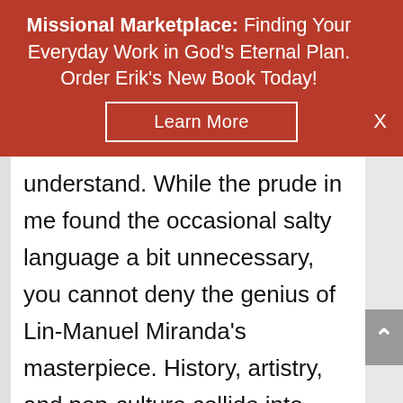Missional Marketplace: Finding Your Everyday Work in God's Eternal Plan. Order Erik's New Book Today! [Learn More] [X]
understand. While the prude in me found the occasional salty language a bit unnecessary, you cannot deny the genius of Lin-Manuel Miranda's masterpiece. History, artistry, and pop-culture collide into two-and-a-half hours of surprisingly solid historical education and emotional storytelling. It's quite the ride.
Share This ∨  ×